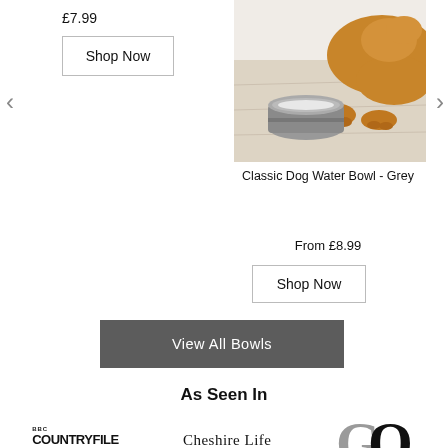£7.99
Shop Now
[Figure (photo): A golden/orange dog lying next to a grey ceramic water bowl on a light wood floor]
Classic Dog Water Bowl - Grey
From £8.99
Shop Now
View All Bowls
As Seen In
[Figure (logo): BBC Countryfile Magazine logo]
[Figure (logo): Cheshire Life logo]
[Figure (logo): GQ magazine logo in grey]